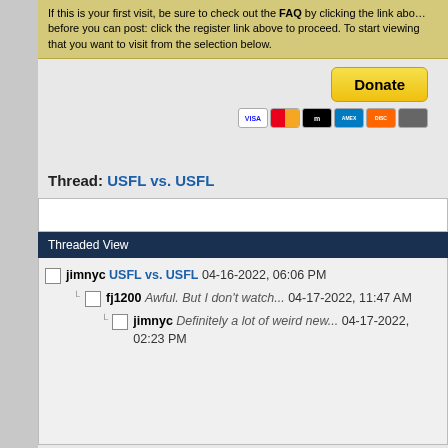If this is your first visit, be sure to check out the FAQ by clicking the link above before you can post: click the register link above to proceed. To start viewing that you want to visit from the selection below.
[Figure (other): PayPal Donate button with payment card icons (VISA, Mastercard, Maestro, American Express, Discover, and another card)]
Thread: USFL vs. USFL
Threaded View
jimnyc USFL vs. USFL 04-16-2022, 06:06 PM
fj1200 Awful. But I don't watch... 04-17-2022, 11:47 AM
jimnyc Definitely a lot of weird new... 04-17-2022, 02:23 PM
Previous Post  Next Post
04-16-2022,  06:06 PM